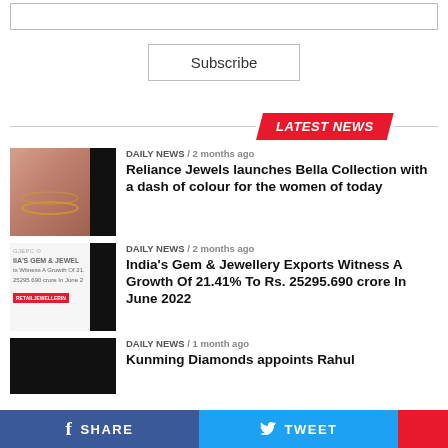[Figure (screenshot): Input text field at the top of the page]
Subscribe
LATEST NEWS
[Figure (photo): Close-up of a woman's wrist wearing a gold bracelet (Reliance Jewels Bella Collection)]
DAILY NEWS / 2 months ago
Reliance Jewels launches Bella Collection with a dash of colour for the women of today
[Figure (screenshot): Thumbnail showing GJEPC gem and jewellery exports news graphic with red RETAILJEWELLERIN label]
DAILY NEWS / 2 months ago
India's Gem & Jewellery Exports Witness A Growth Of 21.41% To Rs. 25295.690 crore In June 2022
[Figure (photo): Black thumbnail image for third news item]
DAILY NEWS / 1 month ago
Kunming Diamonds appoints Rahul
SHARE
TWEET